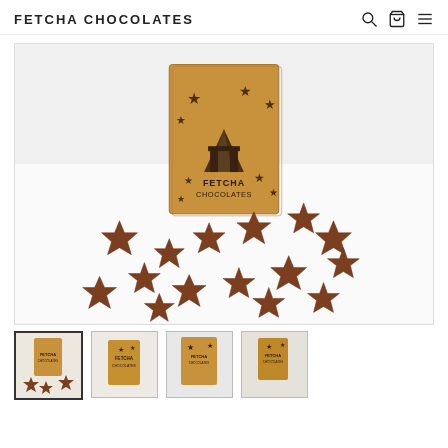FETCHA CHOCOLATES
[Figure (photo): Product photo showing a kraft paper box with Fetcha Chocolates branding and star decorations, surrounded by multiple star-shaped milk chocolates on a white surface]
[Figure (photo): Thumbnail 1: Fetcha Chocolates box with star chocolates (selected/active)]
[Figure (photo): Thumbnail 2: Close-up of Fetcha Chocolates box]
[Figure (photo): Thumbnail 3: Fetcha Chocolates box variant]
[Figure (photo): Thumbnail 4: Another Fetcha Chocolates product view]